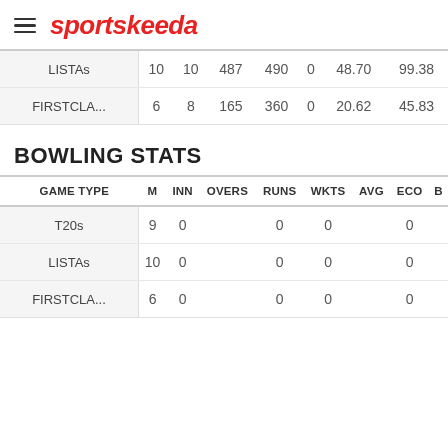sportskeeda
| GAME TYPE | M | INN | OVERS | RUNS | WKTS | AVG | ECO | B |
| --- | --- | --- | --- | --- | --- | --- | --- | --- |
| LISTAs | 10 | 10 | 487 | 490 | 0 | 48.70 | 99.38 |  |
| FIRSTCLA... | 6 | 8 | 165 | 360 | 0 | 20.62 | 45.83 |  |
BOWLING STATS
| GAME TYPE | M | INN | OVERS | RUNS | WKTS | AVG | ECO | B |
| --- | --- | --- | --- | --- | --- | --- | --- | --- |
| T20s | 9 | 0 |  | 0 | 0 |  | 0 |  |
| LISTAs | 10 | 0 |  | 0 | 0 |  | 0 |  |
| FIRSTCLA... | 6 | 0 |  | 0 | 0 |  | 0 |  |